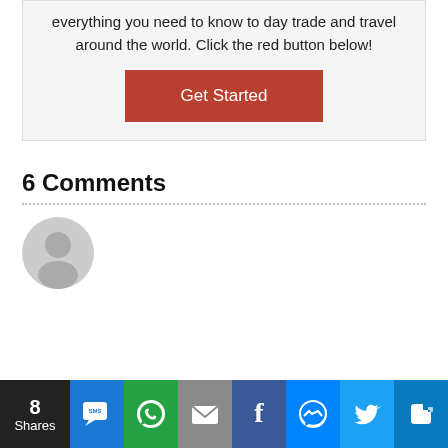everything you need to know to day trade and travel around the world. Click the red button below!
[Figure (other): Red 'Get Started' call-to-action button]
6 Comments
[Figure (other): Default user avatar icon (grey circle with person silhouette)]
[Figure (other): Social share bar at bottom: 8 Shares, SMS, WhatsApp, Email, Facebook, Messenger, Twitter, and more icon buttons]